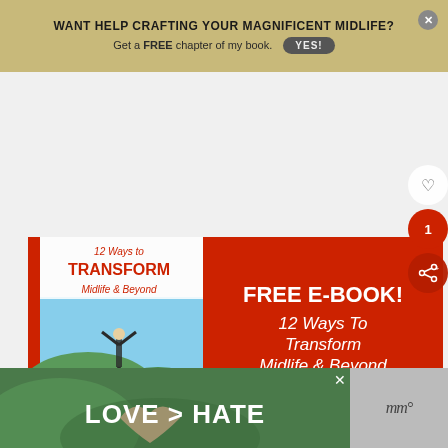WANT HELP CRAFTING YOUR MAGNIFICENT MIDLIFE? Get a FREE chapter of my book. YES!
[Figure (illustration): Book promotional banner with a red background showing a book cover '12 Ways to Transform Midlife & Beyond' on the left and promotional text on the right reading 'FREE E-BOOK! 12 Ways To Transform Midlife & Beyond Click here!']
[Figure (photo): Bottom advertisement banner showing hands forming a heart shape over a green nature background with text 'LOVE > HATE']